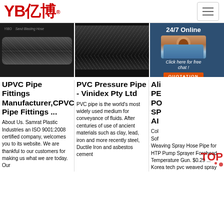[Figure (logo): YB亿博 logo in red with registered trademark symbol, hamburger menu button on the right]
[Figure (photo): Three product images: YIBO Sand Blasting Hose (dark industrial hose), braided PVC/rubber hose closeup, and partial product photo with 24/7 Online chat overlay showing a customer service representative]
UPVC Pipe Fittings Manufacturer,CPVC Pipe Fittings ...
About Us. Samrat Plastic Industries an ISO 9001:2008 certified company, welcomes you to its website. We are thankful to our customers for making us what we are today. Our
PVC Pressure Pipe - Vinidex Pty Ltd
PVC pipe is the world's most widely used medium for conveyance of fluids. After centuries of use of ancient materials such as clay, lead, iron and more recently steel, Ductile Iron and asbestos cement
Ali PE PO SP AI
Col Sof Weaving Spray Hose Pipe for HTP Pump Sprayer Forehead Temperature Gun. $0.29 ... Korea tech pvc weaved spray